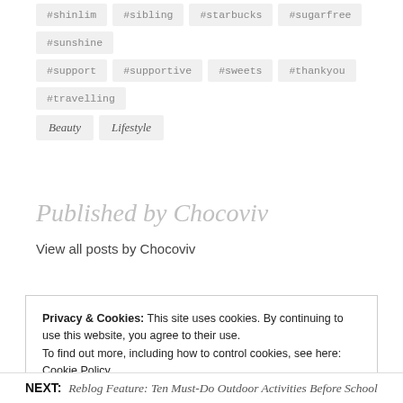#shinlim #sibling #starbucks #sugarfree #sunshine
#support #supportive #sweets #thankyou #travelling
Beauty Lifestyle
Published by Chocoviv
View all posts by Chocoviv
Privacy & Cookies: This site uses cookies. By continuing to use this website, you agree to their use.
To find out more, including how to control cookies, see here: Cookie Policy
Close and accept
NEXT: Reblog Feature: Ten Must-Do Outdoor Activities Before School